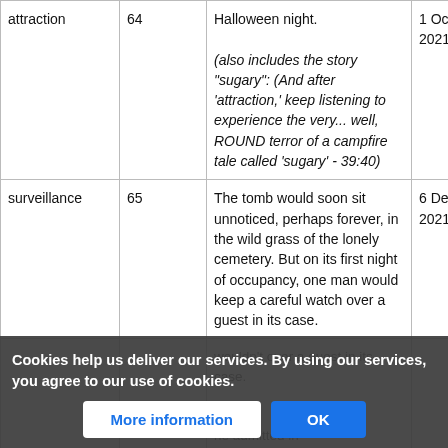|  |  |  |  |
| --- | --- | --- | --- |
| attraction | 64 | Halloween night.

(also includes the story "sugary": (And after 'attraction,' keep listening to experience the very... well, ROUND terror of a campfire tale called 'sugary' - 39:40) | 1 October, 2021 |
| surveillance | 65 | The tomb would soon sit unnoticed, perhaps forever, in the wild grass of the lonely cemetery. But on its first night of occupancy, one man would keep a careful watch over a guest in its case. | 6 December, 2021 |
|  |  | wouldn't over a guest in its case. |  |
Cookies help us deliver our services. By using our services, you agree to our use of cookies.